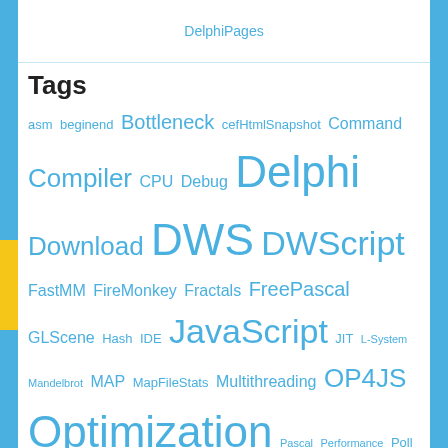DelphiPages
Tags
asm beginend Bottleneck cefHtmlSnapshot Command Compiler CPU Debug Delphi Download DWS DWScript FastMM FireMonkey Fractals FreePascal GLScene Hash IDE JavaScript JIT L-System Mandelbrot MAP MapFileStats Multithreading OP4JS Optimization Pascal Performance Poll Profiler Real-time RTTI Site SmartMS String SynEdit Templates Tips TMonitor Tools Unicode WebServer WordPress
Meta
Site Admin
Entries / Comments RSS
WordPress.org
Cookie Policy